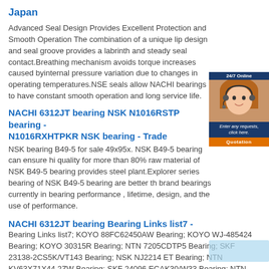Japan
Advanced Seal Design Provides Excellent Protection and Smooth Operation The combination of a unique lip design and seal groove provides a labrinth and steady seal contact.Breathing mechanism avoids torque increases caused byinternal pressure variation due to changes in operating temperatures.NSE seals allow NACHI bearings to have constant smooth operation and long service life.
NACHI 6312JT bearing NSK N1016RSTP bearing - N1016RXHTPKR NSK bearing - Trade
NSK bearing B49-5 for sale 49x95x. NSK B49-5 bearing can ensure hi quality for more than 80% raw material of NSK B49-5 bearing provides steel plant.Explorer series bearing of NSK B49-5 bearing are better th brand bearings currently in bearing performance , lifetime, design, and the use of performance.
NACHI 6312JT bearing Bearing Links list7 -
Bearing Links list7; KOYO 88FC62450AW Bearing; KOYO WJ-485424 Bearing; KOYO 30315R Bearing; NTN 7205CDTP5 Bearing; SKF 23138-2CS5K/VT143 Bearing; NSK NJ2214 ET Bearing; NTN KV63X71X44.2ZW Bearing; SKF 24096 ECAK30/W33 Bearing; NTN RNAO-20×32×12 Bearing
NACHI 6312JT bearing NACHI 6312-2RS bearing_SKF